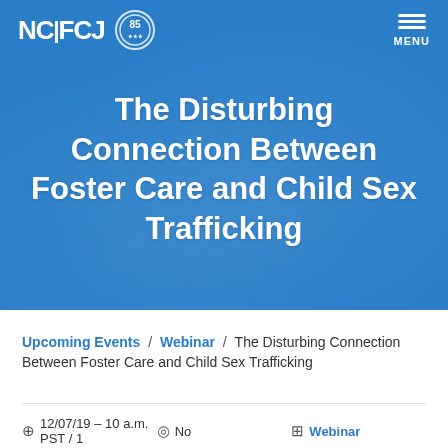NCJFCJ | 85 | MENU
The Disturbing Connection Between Foster Care and Child Sex Trafficking
Upcoming Events / Webinar / The Disturbing Connection Between Foster Care and Child Sex Trafficking
12/07/19 – 10 a.m. PST / 1   No   Webinar